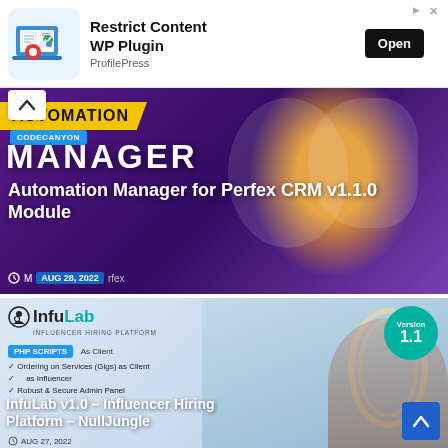[Figure (screenshot): Ad banner for Restrict Content WP Plugin by ProfilePress with Open button]
[Figure (screenshot): Automation Manager for Perfex CRM v1.1.0 Module card with purple/yellow design, CodeCanyon badge, dated AUG 28, 2022]
[Figure (screenshot): InfuLab v1.0 - Influencer Hiring Platform NullJungle card with PHP SCRIPTS badge, Version 1.1 teal badge, checklist items, dated AUG 27, 2022]